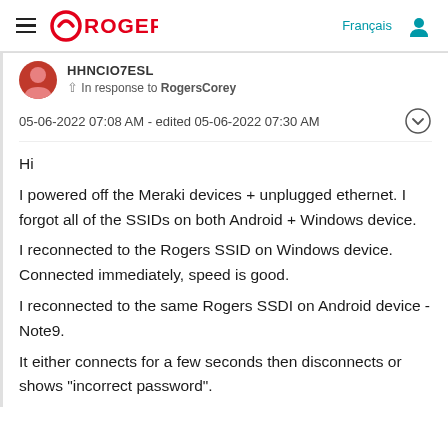Rogers
HHNCIO7ESL
In response to RogersCorey
05-06-2022 07:08 AM - edited 05-06-2022 07:30 AM
Hi
I powered off the Meraki devices + unplugged ethernet. I forgot all of the SSIDs on both Android + Windows device.
I reconnected to the Rogers SSID on Windows device. Connected immediately, speed is good.
I reconnected to the same Rogers SSDI on Android device - Note9.
It either connects for a few seconds then disconnects or shows "incorrect password".